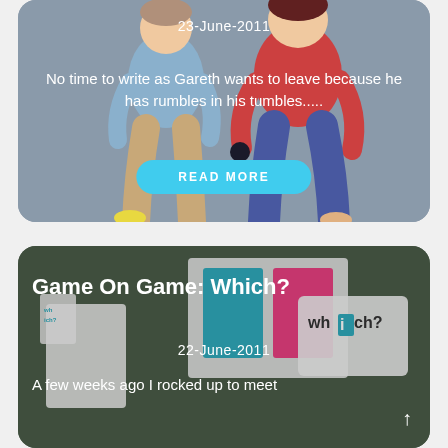[Figure (illustration): Two illustrated figures standing side by side, one in a grey-blue top and tan trousers, one in a red top and blue trousers, on a grey background]
23-June-2011
No time to write as Gareth wants to leave because he has rumbles in his tumbles.....
READ MORE
[Figure (photo): Photo of board games including a game called 'Which?' on a green background]
Game On Game: Which?
22-June-2011
A few weeks ago I rocked up to meet